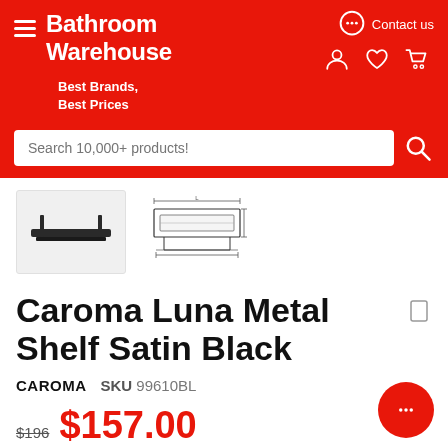Bathroom Warehouse — Best Brands, Best Prices
[Figure (screenshot): Product photo of Caroma Luna Metal Shelf Satin Black and technical line drawing showing dimensions]
Caroma Luna Metal Shelf Satin Black
CAROMA  SKU 99610BL
$196  $157.00
Quick Ship